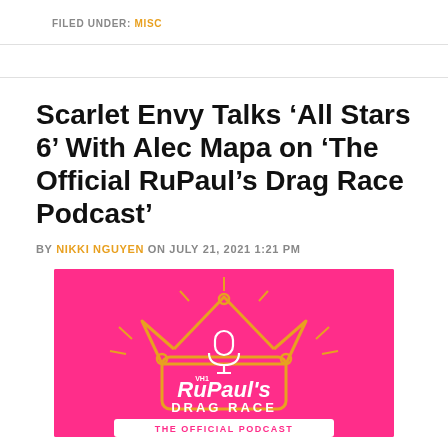FILED UNDER: MISC
Scarlet Envy Talks ‘All Stars 6’ With Alec Mapa on ‘The Official RuPaul’s Drag Race Podcast’
BY NIKKI NGUYEN ON JULY 21, 2021 1:21 PM
[Figure (logo): Pink background podcast logo for RuPaul's Drag Race – The Official Podcast, with a golden crown and microphone graphic and white bold text reading 'VH1 RuPaul's Drag Race THE OFFICIAL PODCAST']